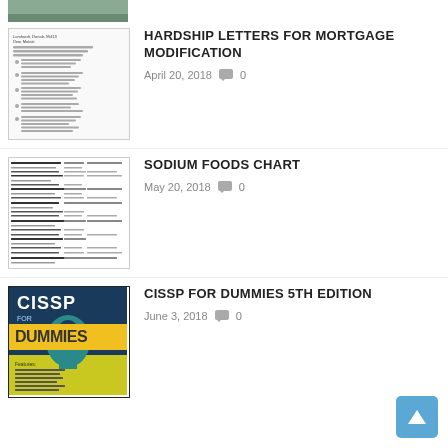[Figure (photo): Partial image visible at top of page, cropped]
HARDSHIP LETTERS FOR MORTGAGE MODIFICATION
April 20, 2018   💬 0
[Figure (screenshot): Thumbnail of a letter document with bullet points]
SODIUM FOODS CHART
May 20, 2018   💬 0
[Figure (screenshot): Thumbnail of a sodium foods chart with columns of food and sodium values]
CISSP FOR DUMMIES 5TH EDITION
June 3, 2018   💬 0
[Figure (photo): Book cover: CISSP for Dummies, dark blue/teal with keyhole silhouette]